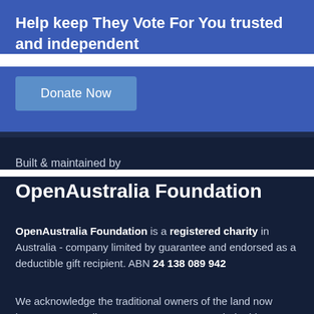Help keep They Vote For You trusted and independent
Donate Now
Built & maintained by
OpenAustralia Foundation
OpenAustralia Foundation is a registered charity in Australia - company limited by guarantee and endorsed as a deductible gift recipient. ABN 24 138 089 942
We acknowledge the traditional owners of the land now known as Australia. We pay our respects to their elders past, present and emerging.